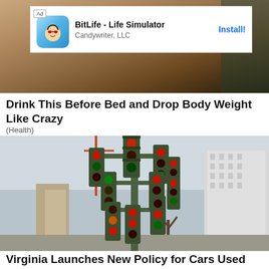[Figure (screenshot): Mobile app advertisement banner for BitLife - Life Simulator by Candywriter LLC with Install button, overlaid on a photo background. Shows 'Ad' tag, app icon of a baby with sunglasses, app title, publisher name, and blue Install button.]
Drink This Before Bed and Drop Body Weight Like Crazy
(Health)
[Figure (photo): A large sculptural installation of many traffic lights arranged on branches like a tree, with red, green, yellow, and orange lights illuminated. Urban background with buildings and construction cranes visible.]
Virginia Launches New Policy for Cars Used Less Than